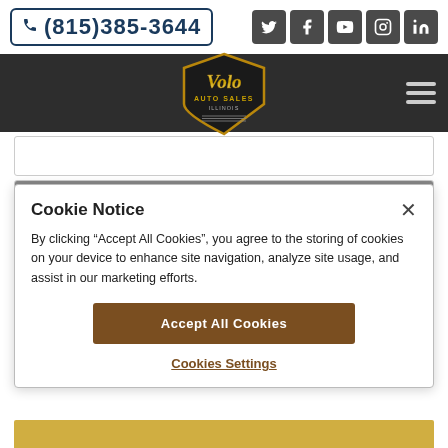(815)385-3644
[Figure (logo): Volo Auto Sales Illinois shield logo in gold and dark colors]
Cookie Notice
By clicking "Accept All Cookies", you agree to the storing of cookies on your device to enhance site navigation, analyze site usage, and assist in our marketing efforts.
Accept All Cookies
Cookies Settings